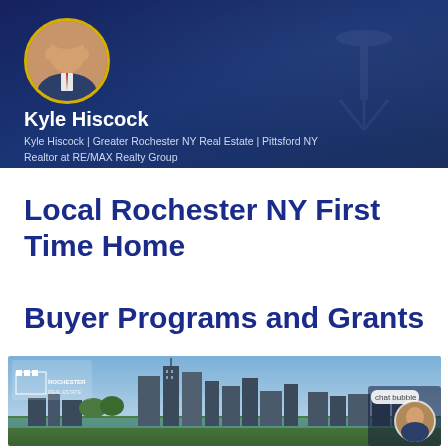[Figure (photo): Profile header banner with dark navy blue background showing Kyle Hiscock's profile photo in a gold-bordered circle]
Kyle Hiscock
Kyle Hiscock | Greater Rochester NY Real Estate | Pittsford NY Realtor at RE/MAX Realty Group
Local Rochester NY First Time Home Buyer Programs and Grants
[Figure (photo): Rochester NY city skyline photo with Rochester Real Estate logo on left and agent circle photo on right with chat bubble overlay]